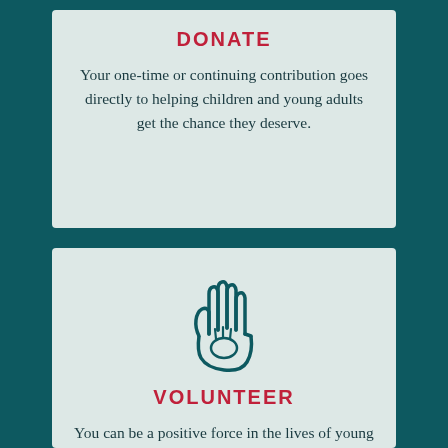DONATE
Your one-time or continuing contribution goes directly to helping children and young adults get the chance they deserve.
[Figure (illustration): Icon of a large adult hand with a small child hand inside it, rendered as a teal outline on a light teal background.]
VOLUNTEER
You can be a positive force in the lives of young people being treated